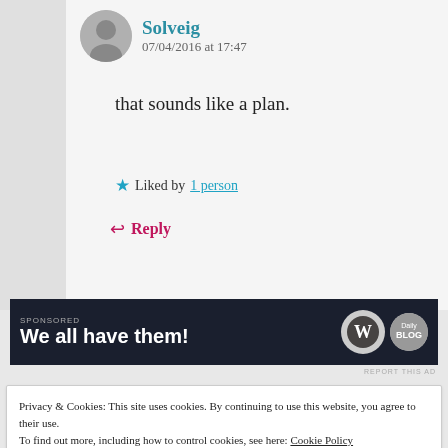Solveig
07/04/2016 at 17:47
that sounds like a plan.
★ Liked by 1 person
↩ Reply
[Figure (illustration): Dark advertisement banner with text 'We all have them!' and WordPress/WooCommerce logos on a dark navy background]
REPORT THIS AD
Privacy & Cookies: This site uses cookies. By continuing to use this website, you agree to their use.
To find out more, including how to control cookies, see here: Cookie Policy
Close and accept
Envy is deceiving. When you think you're